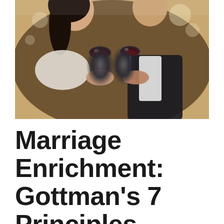[Figure (photo): A couple clinking red wine glasses together, smiling at each other. The woman has long dark hair and wears a white dress; the man wears a dark suit. The photo has warm, bokeh-lit background.]
Marriage Enrichment: Gottman's 7 Principles